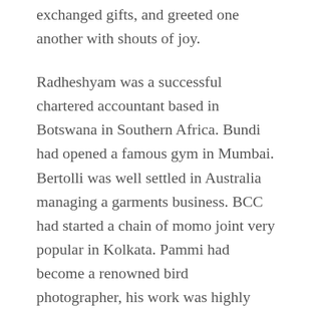exchanged gifts, and greeted one another with shouts of joy.
Radheshyam was a successful chartered accountant based in Botswana in Southern Africa. Bundi had opened a famous gym in Mumbai. Bertolli was well settled in Australia managing a garments business. BCC had started a chain of momo joint very popular in Kolkata. Pammi had become a renowned bird photographer, his work was highly sought-after from different corners of the world.
As everyone settled and the initial excitement calmed, Daru took out a small pint of Old Monk from his back pocket and the gang pounced at the sight of it. They hushedly scuffled as they did thirty years ago to sip from the sacred bottle. That day Daru could have